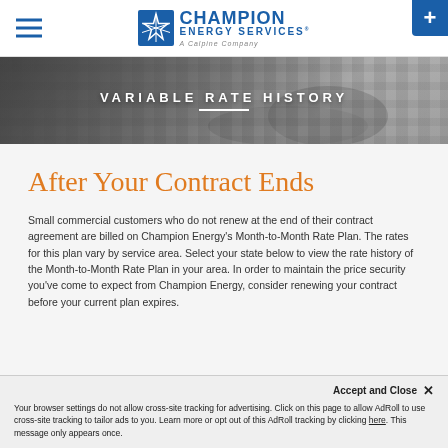Champion Energy Services — A Calpine Company
[Figure (photo): Hero banner showing a person's hands on a keyboard, with overlay text reading VARIABLE RATE HISTORY]
After Your Contract Ends
Small commercial customers who do not renew at the end of their contract agreement are billed on Champion Energy's Month-to-Month Rate Plan. The rates for this plan vary by service area. Select your state below to view the rate history of the Month-to-Month Rate Plan in your area. In order to maintain the price security you've come to expect from Champion Energy, consider renewing your contract before your current plan expires.
Accept and Close ✕ Your browser settings do not allow cross-site tracking for advertising. Click on this page to allow AdRoll to use cross-site tracking to tailor ads to you. Learn more or opt out of this AdRoll tracking by clicking here. This message only appears once.